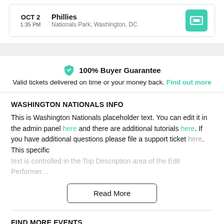OCT 2 | 1:35 PM | Phillies | Nationals Park, Washington, DC
100% Buyer Guarantee
Valid tickets delivered on time or your money back. Find out more
WASHINGTON NATIONALS INFO
This is Washington Nationals placeholder text. You can edit it in the admin panel here and there are additional tutorials here. If you have additional questions please file a support ticket here. This specific text is controlled in the Top Description area of the Edit Performer…
Read More
FIND MORE EVENTS
Sports Events